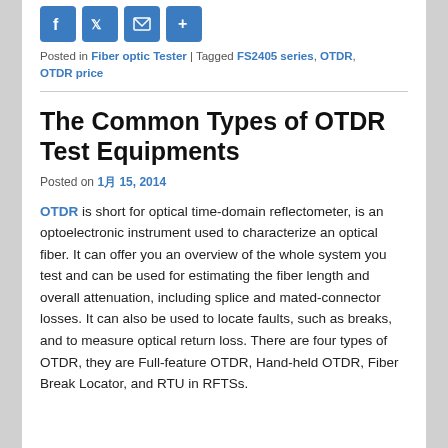[Figure (other): Social media sharing icons: Facebook, Twitter, Email, Share buttons in blue]
Posted in Fiber optic Tester | Tagged FS2405 series, OTDR, OTDR price
The Common Types of OTDR Test Equipments
Posted on 1月 15, 2014
OTDR is short for optical time-domain reflectometer, is an optoelectronic instrument used to characterize an optical fiber. It can offer you an overview of the whole system you test and can be used for estimating the fiber length and overall attenuation, including splice and mated-connector losses. It can also be used to locate faults, such as breaks, and to measure optical return loss. There are four types of OTDR, they are Full-feature OTDR, Hand-held OTDR, Fiber Break Locator, and RTU in RFTSs.